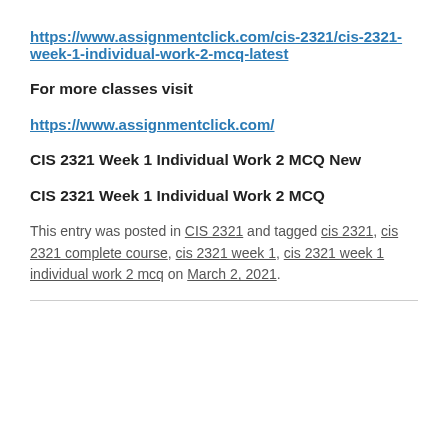https://www.assignmentclick.com/cis-2321/cis-2321-week-1-individual-work-2-mcq-latest
For more classes visit
https://www.assignmentclick.com/
CIS 2321 Week 1 Individual Work 2 MCQ New
CIS 2321 Week 1 Individual Work 2 MCQ
This entry was posted in CIS 2321 and tagged cis 2321, cis 2321 complete course, cis 2321 week 1, cis 2321 week 1 individual work 2 mcq on March 2, 2021.